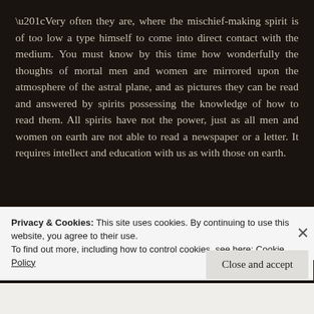“Very often they are, where the mischief-making spirit is of too low a type himself to come into direct contact with the medium. You must know by this time how wonderfully the thoughts of mortal men and women are mirrored upon the atmosphere of the astral plane, and as pictures they can be read and answered by spirits possessing the knowledge of how to read them. All spirits have not the power, just as all men and women on earth are not able to read a newspaper or a letter. It requires intellect and education with us as with those on earth.
“THE SPIRITS THEN OF
Privacy & Cookies: This site uses cookies. By continuing to use this website, you agree to their use.
To find out more, including how to control cookies, see here: Cookie Policy
Close and accept